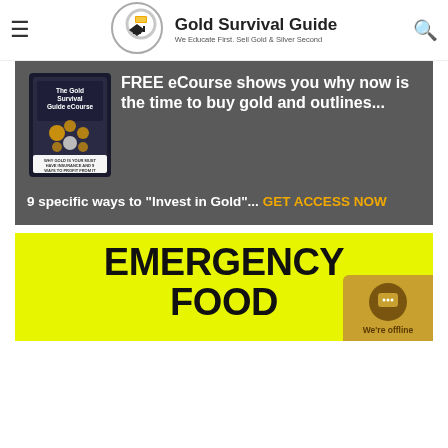Gold Survival Guide — We Educate First. Sell Gold & Silver Second
[Figure (infographic): Gold Survival Guide eCourse promotional banner with book image. Text: FREE eCourse shows you why now is the time to buy gold and outlines... 9 specific ways to "Invest in Gold"... GET ACCESS NOW]
[Figure (infographic): Emergency Food yellow banner with bold black text: EMERGENCY FOOD]
[Figure (other): Live chat widget showing chat bubble icon and 'We're offline' text on gold/brown background]